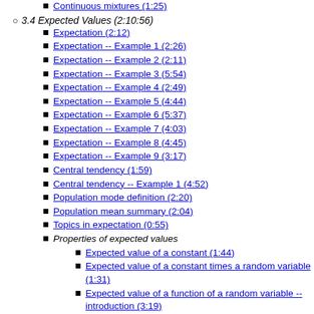Continuous mixtures (1:25)
3.4 Expected Values (2:10:56)
Expectation (2:12)
Expectation -- Example 1 (2:26)
Expectation -- Example 2 (2:11)
Expectation -- Example 3 (5:54)
Expectation -- Example 4 (2:49)
Expectation -- Example 5 (4:44)
Expectation -- Example 6 (5:37)
Expectation -- Example 7 (4:03)
Expectation -- Example 8 (4:45)
Expectation -- Example 9 (3:17)
Central tendency (1:59)
Central tendency -- Example 1 (4:52)
Population mode definition (2:20)
Population mean summary (2:04)
Topics in expectation (0:55)
Properties of expected values
Expected value of a constant (1:44)
Expected value of a constant times a random variable (1:31)
Expected value of a function of a random variable -- introduction (3:19)
Expected value of a function of a random variable (3:03)